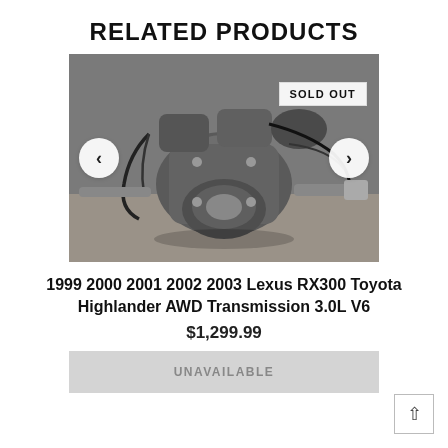RELATED PRODUCTS
[Figure (photo): Photo of a used AWD transmission (Lexus RX300 / Toyota Highlander) lying on a concrete floor, showing gearbox, wiring harness, and drivetrain components. A 'SOLD OUT' badge is overlaid in the upper right of the image. Navigation arrows (left and right) appear on the image for a carousel.]
1999 2000 2001 2002 2003 Lexus RX300 Toyota Highlander AWD Transmission 3.0L V6
$1,299.99
UNAVAILABLE